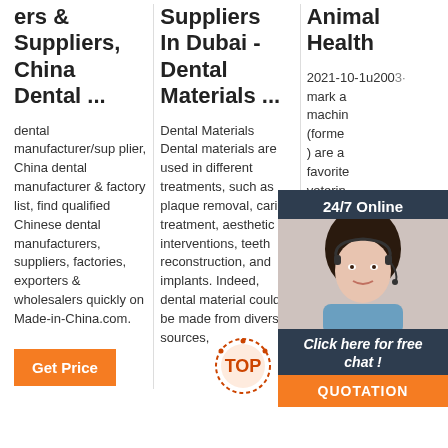ers & Suppliers, China Dental ...
dental manufacturer/supplier, China dental manufacturer & factory list, find qualified Chinese dental manufacturers, suppliers, factories, exporters & wholesalers quickly on Made-in-China.com.
[Figure (other): Orange 'Get Price' button]
Suppliers In Dubai - Dental Materials ...
Dental Materials Dental materials are used in different treatments, such as plaque removal, caries treatment, aesthetic interventions, teeth reconstruction, and implants. Indeed, dental material could be made from diverse sources,
Animal Health
2021-10-1u2003· Mid mark a machin (forme ) are a favorite veterin profess around for inh anesth deliver 50 years, each machine has been carefully manufactured to provide you with years of safe,
[Figure (other): 24/7 Online chat widget with female agent photo, 'Click here for free chat!' text, and orange QUOTATION button]
[Figure (other): Orange and red TOP badge/seal in bottom right area]